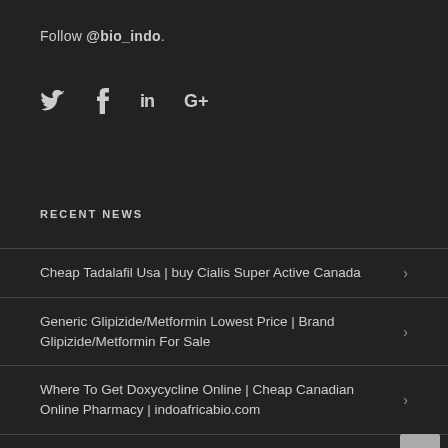Follow @bio_indo.
[Figure (other): Social media icons: Twitter bird, Facebook f, LinkedIn in, Google+ G+]
RECENT NEWS
Cheap Tadalafil Usa | buy Cialis Super Active Canada
Generic Glipizide/Metformin Lowest Price | Brand Glipizide/Metformin For Sale
Where To Get Doxycycline Online | Cheap Canadian Online Pharmacy | indoafricabio.com
Message board for future years regarding Higher education